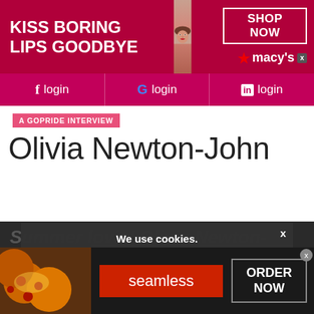[Figure (screenshot): Macy's advertisement banner with red background, woman's face with red lips, 'KISS BORING LIPS GOODBYE' headline, SHOP NOW button, and Macy's star logo]
[Figure (screenshot): Login bar with Facebook (f login), Google (G login), and LinkedIn (in login) buttons on pink/magenta background]
A GOPRIDE INTERVIEW
Olivia Newton-John
Summer lovin' Olivia Newton-John... No...
We use cookies.
Yes, we use cookies to ensure we give you the best experience using this website.
By closing this box or clicking on the continue button, you agree to our terms of use and consent to the use of
[Figure (screenshot): Seamless food delivery advertisement with pizza image, Seamless button in red, and ORDER NOW button in dark background]